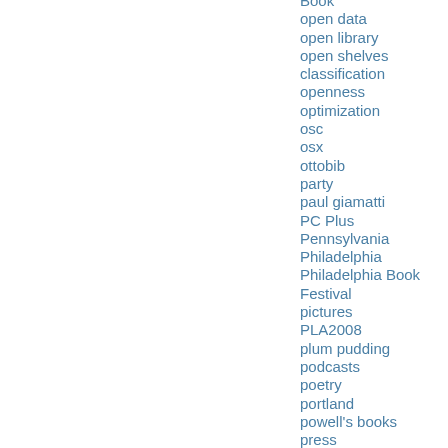Book
open data
open library
open shelves classification
openness
optimization
osc
osx
ottobib
party
paul giamatti
PC Plus
Pennsylvania
Philadelphia
Philadelphia Book Festival
pictures
PLA2008
plum pudding
podcasts
poetry
portland
powell's books
press
press hits
pride and prejudice and zombies
privacy
publicists
publishers
quirk books